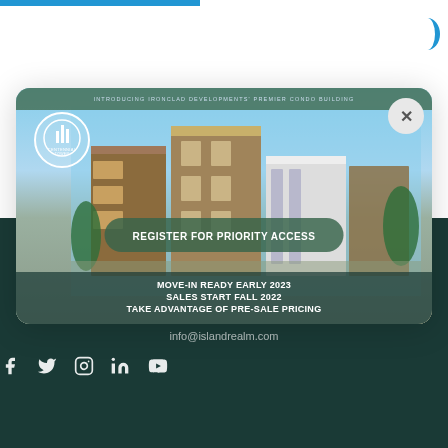[Figure (illustration): Modal advertisement card for Centennial Tower condo building by Ironclad Developments. Shows a rendered image of a modern multi-story condo building. Contains text: INTRODUCING IRONCLAD DEVELOPMENTS' PREMIER CONDO BUILDING, REGISTER FOR PRIORITY ACCESS, MOVE-IN READY EARLY 2023, SALES START FALL 2022, TAKE ADVANTAGE OF PRE-SALE PRICING.]
102-3645 Tillicum Rd
Victoria, BC, V8Z 4H7
T 250-382-6636
info@islandrealm.com
[Figure (illustration): Social media icons: Facebook, Twitter, Instagram, LinkedIn, YouTube]